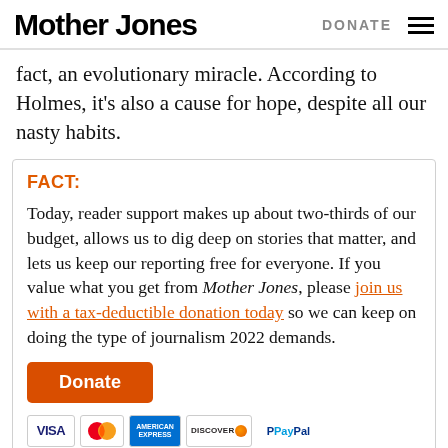Mother Jones | DONATE
fact, an evolutionary miracle. According to Holmes, it's also a cause for hope, despite all our nasty habits.
FACT:
Today, reader support makes up about two-thirds of our budget, allows us to dig deep on stories that matter, and lets us keep our reporting free for everyone. If you value what you get from Mother Jones, please join us with a tax-deductible donation today so we can keep on doing the type of journalism 2022 demands.
[Figure (other): Orange Donate button followed by payment icons: VISA, Mastercard, American Express, Discover, PayPal]